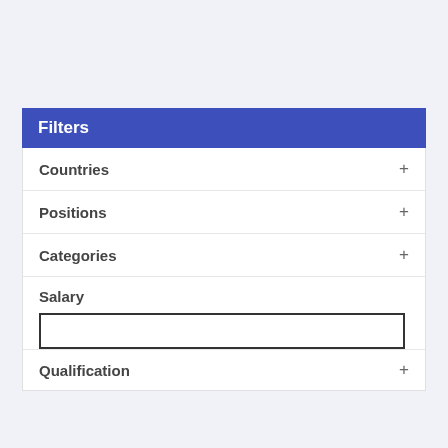Filters
Countries +
Positions +
Categories +
Salary
Qualification +